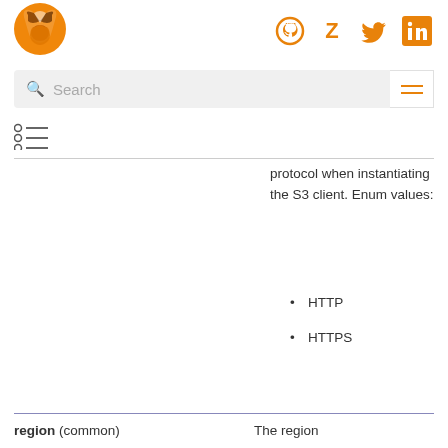[Figure (logo): Scrapy fox logo - orange circle with fox silhouette]
[Figure (logo): Social icons: GitHub, Zyte, Twitter, LinkedIn in orange]
Search (search bar)
[Figure (other): Table of contents / hamburger icon]
protocol when instantiating the S3 client. Enum values:
HTTP
HTTPS
region (common)  The region